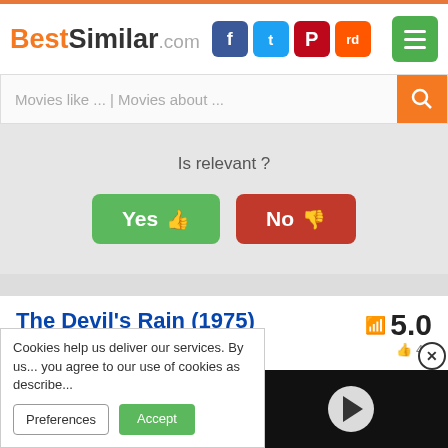BestSimilar.com
Movies like ... | Movies about ...
Is relevant ?
Yes 👍
No 👎
The Devil's Rain (1975)
5.0
👍 4K
[Figure (screenshot): Movie poster for The Devil's Rain showing 'Heaven help' text]
[Figure (screenshot): Black video player panel with play button]
Cookies help us deliver our services. By us... you agree to our use of cookies as describe...
Preferences
Accept